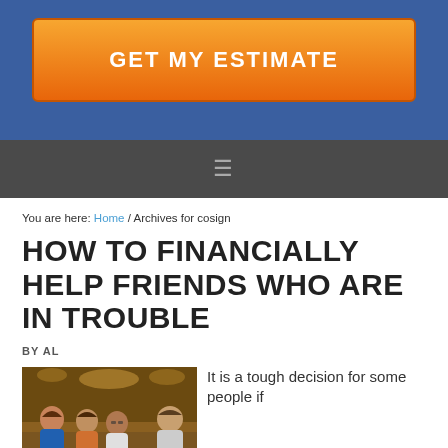[Figure (other): Orange gradient 'GET MY ESTIMATE' call-to-action button on a blue banner background]
≡
You are here: Home / Archives for cosign
HOW TO FINANCIALLY HELP FRIENDS WHO ARE IN TROUBLE
BY AL
[Figure (photo): Group of young friends socializing and smiling in a bar or restaurant setting]
It is a tough decision for some people if